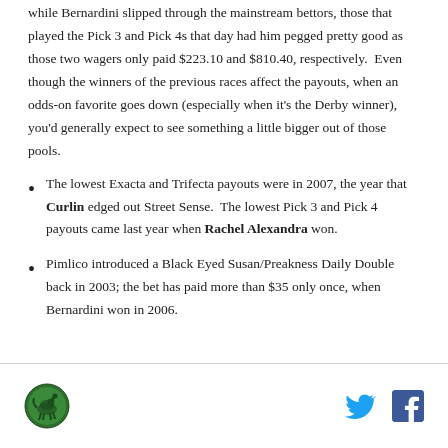while Bernardini slipped through the mainstream bettors, those that played the Pick 3 and Pick 4s that day had him pegged pretty good as those two wagers only paid $223.10 and $810.40, respectively.  Even though the winners of the previous races affect the payouts, when an odds-on favorite goes down (especially when it's the Derby winner), you'd generally expect to see something a little bigger out of those pools.
The lowest Exacta and Trifecta payouts were in 2007, the year that Curlin edged out Street Sense.  The lowest Pick 3 and Pick 4 payouts came last year when Rachel Alexandra won.
Pimlico introduced a Black Eyed Susan/Preakness Daily Double back in 2003; the bet has paid more than $35 only once, when Bernardini won in 2006.
Logo and social share icons